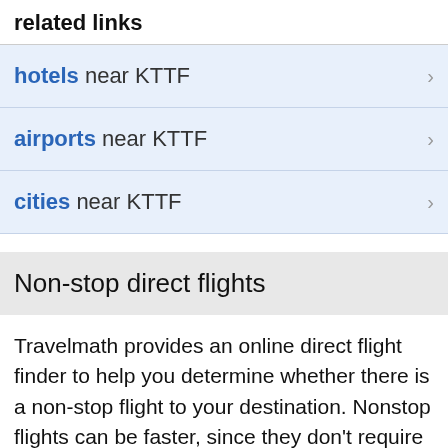related links
hotels near KTTF
airports near KTTF
cities near KTTF
Non-stop direct flights
Travelmath provides an online direct flight finder to help you determine whether there is a non-stop flight to your destination. Nonstop flights can be faster, since they don't require you to change planes or stop at a connecting airport. However, sometimes you can't find any non-stop flights between two cities. In that case, you may want to search for a direct connection that goes through an